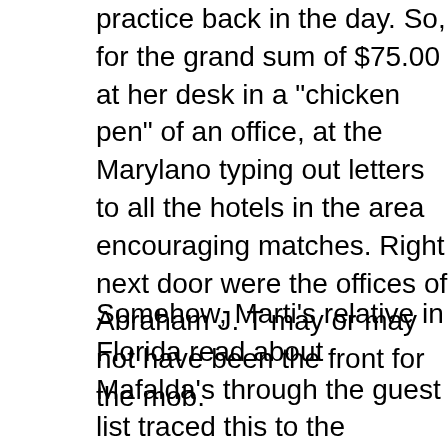practice back in the day. So, for the grand sum of $75.00 at her desk in a "chicken pen" of an office, at the Maryland typing out letters to all the hotels in the area encouraging matches. Right next door were the offices of Abraham J. T may or may not have been the front for the mob.
Somehow, Marti's relative in Florida read about Mafalda's through the guest list traced this to the Maryland Match C grandparents in Chicago found out about all this, they whi there lickety split and put her on a sleeper train to the eas would spend the next months serving in the role of govern children while the mother looked after her newborn.
Thus she was saved from being drawn into the underbelly world and instead became the matriarch of the Huff/Walra dynasty of Kansas City. And now you know ... the rest of t want to steal that line, but you have to admit it goes perfe
P.S. we did NOT get a psychic reading but you can't pass this. That does not mean we may not venture in there afte date. I mean how can I not have been there in the 26 year